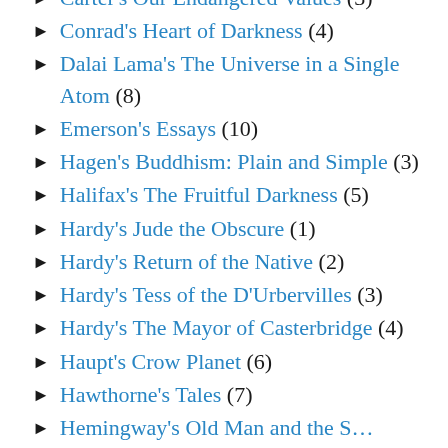Carter's Our Endangered Values (3)
Conrad's Heart of Darkness (4)
Dalai Lama's The Universe in a Single Atom (8)
Emerson's Essays (10)
Hagen's Buddhism: Plain and Simple (3)
Halifax's The Fruitful Darkness (5)
Hardy's Jude the Obscure (1)
Hardy's Return of the Native (2)
Hardy's Tess of the D'Urbervilles (3)
Hardy's The Mayor of Casterbridge (4)
Haupt's Crow Planet (6)
Hawthorne's Tales (7)
Hemingway's Old Man and the S…